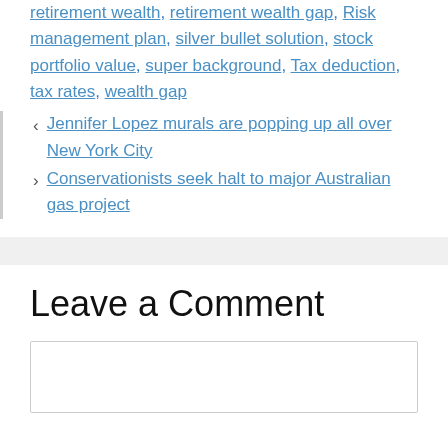retirement wealth, retirement wealth gap, Risk management plan, silver bullet solution, stock portfolio value, super background, Tax deduction, tax rates, wealth gap
Jennifer Lopez murals are popping up all over New York City
Conservationists seek halt to major Australian gas project
Leave a Comment